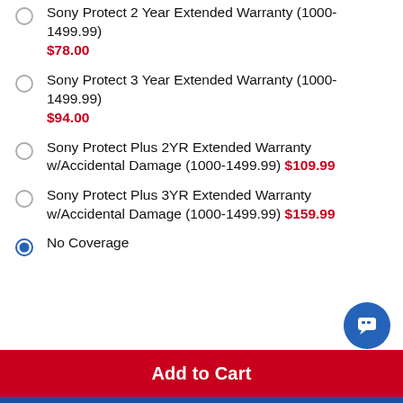Sony Protect 2 Year Extended Warranty (1000-1499.99) $78.00
Sony Protect 3 Year Extended Warranty (1000-1499.99) $94.00
Sony Protect Plus 2YR Extended Warranty w/Accidental Damage (1000-1499.99) $109.99
Sony Protect Plus 3YR Extended Warranty w/Accidental Damage (1000-1499.99) $159.99
No Coverage
Add to Cart